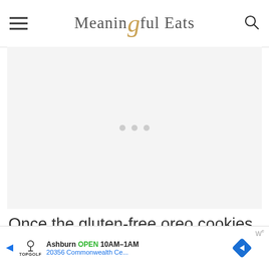Meaningful Eats
[Figure (other): Advertisement placeholder area with loading dots]
Once the gluten-free oreo cookies are baked and cooled you can make the filling
[Figure (other): Topgolf advertisement banner: Ashburn OPEN 10AM-1AM, 20356 Commonwealth Ce...]